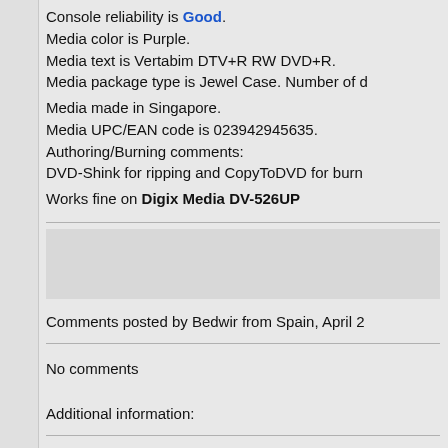Console reliability is Good. Media color is Purple. Media text is Vertabim DTV+R RW DVD+R. Media package type is Jewel Case. Number of d[iscs]. Media made in Singapore. Media UPC/EAN code is 023942945635. Authoring/Burning comments: DVD-Shink for ripping and CopyToDVD for burn[ing]. Works fine on Digix Media DV-526UP
Comments posted by Bedwir from Spain, April 2
No comments
Additional information:
Price: $3 Date purchased: April 2004 Burnt with LG GSA-4082B at 4x